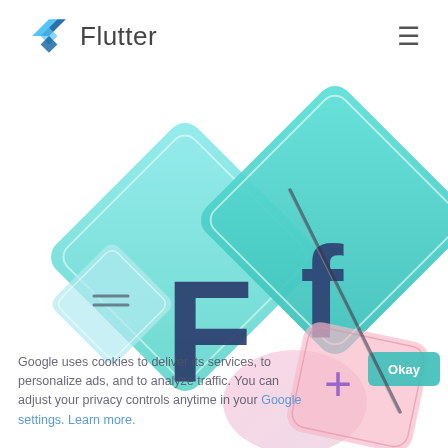[Figure (logo): Flutter logo (blue/teal angular bird icon) with text 'Flutter' beside it, plus a hamburger menu icon in the top right]
[Figure (illustration): Flutter UI showcase illustration: two large teal/cyan rotated diamond cards each showing a large 'F' letter (one uppercase block, one lowercase), a small menu icon card, a pink rounded card with purple plus sign, and a teal oval/circle accent shape. The cards overlap and are arranged diagonally across the lower 2/3 of the page.]
Google uses cookies to deliver its services, to personalize ads, and to analyze traffic. You can adjust your privacy controls anytime in your Google settings. Learn more.